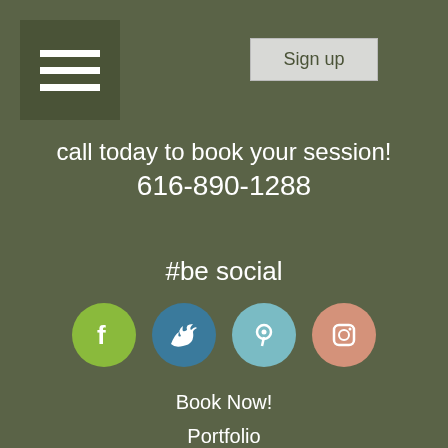[Figure (illustration): Hamburger menu icon — three white horizontal lines on dark olive square background]
Sign up
call today to book your session!
616-890-1288
#be social
[Figure (illustration): Four social media icons in circles: Facebook (green), Twitter (dark blue), Pinterest (light blue), Instagram (pink)]
Book Now!
Portfolio
Blog
testimonials
Child + Family
Senior Portraits